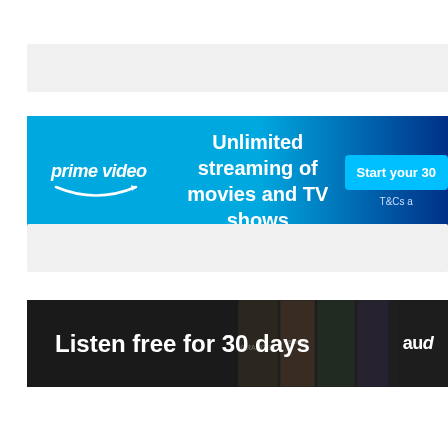[Figure (screenshot): Gray placeholder bar at top of page]
[Figure (screenshot): Amazon Prime Video banner advertisement: blue gradient background with 'prime video' logo on left, 'Unlimited streaming of movies and TV shows' text in center, 'Start your 30' button on right with 'T&Cs a' text below]
[Figure (screenshot): Gray placeholder bar in middle of page]
[Figure (screenshot): Audible banner advertisement: dark/black background with 'Listen free for 30 days' text on left, book cover images in background on right, 'aud' logo partially visible on far right]